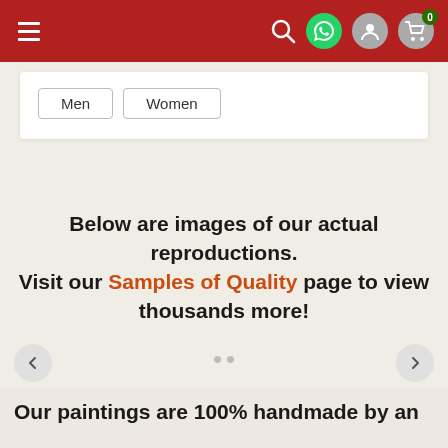Navigation bar with hamburger menu, search, WhatsApp, user, and cart icons
Men  Women
Below are images of our actual reproductions. Visit our Samples of Quality page to view thousands more!
View 1000's of more samples!
Our paintings are 100% handmade by an